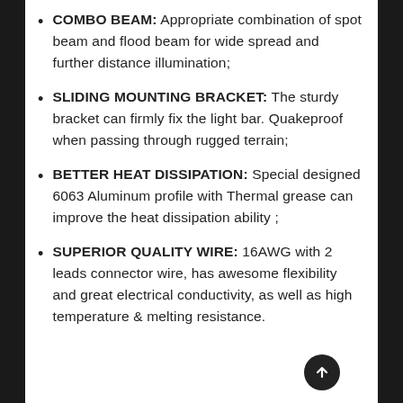COMBO BEAM: Appropriate combination of spot beam and flood beam for wide spread and further distance illumination;
SLIDING MOUNTING BRACKET: The sturdy bracket can firmly fix the light bar. Quakeproof when passing through rugged terrain;
BETTER HEAT DISSIPATION: Special designed 6063 Aluminum profile with Thermal grease can improve the heat dissipation ability ;
SUPERIOR QUALITY WIRE: 16AWG with 2 leads connector wire, has awesome flexibility and great electrical conductivity, as well as high temperature & melting resistance.